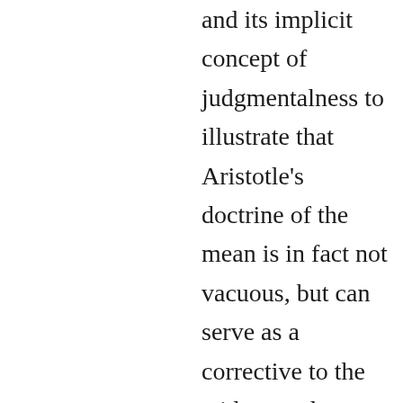and its implicit concept of judgmentalness to illustrate that Aristotle's doctrine of the mean is in fact not vacuous, but can serve as a corrective to the widespread tendency to identify a virtue with the polar opposite of a correctly identified vice. We